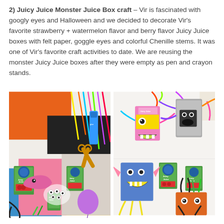2) Juicy Juice Monster Juice Box craft – Vir is fascinated with googly eyes and Halloween and we decided to decorate Vir's favorite strawberry + watermelon flavor and berry flavor Juicy Juice boxes with felt paper, goggle eyes and colorful Chenille stems. It was one of Vir's favorite craft activities to date. We are reusing the monster Juicy Juice boxes after they were empty as pen and crayon stands.
[Figure (photo): Two side-by-side photos: left shows craft supplies including Juicy Juice boxes, colorful pipe cleaners, scissors, glue, googly eyes, and colored paper on a colorful background. Right shows finished monster Juicy Juice box crafts with googly eyes, felt paper mouths, and pipe cleaner arms on a white surface.]